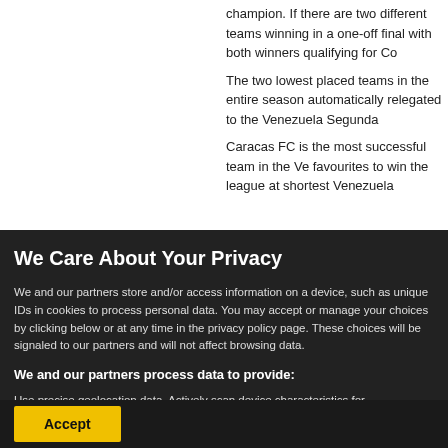champion. If there are two different teams winning in a one-off final with both winners qualifying for Co
The two lowest placed teams in the entire season automatically relegated to the Venezuela Segunda
Caracas FC is the most successful team in the Ve favourites to win the league at shortest Venezuela
We Care About Your Privacy
We and our partners store and/or access information on a device, such as unique IDs in cookies to process personal data. You may accept or manage your choices by clicking below or at any time in the privacy policy page. These choices will be signaled to our partners and will not affect browsing data.
We and our partners process data to provide:
Use precise geolocation data. Actively scan device characteristics for identification. Store and/or access information on a device. Personalised ads and content, ad and content measurement, audience insights and product development.
List of Partners (vendors)